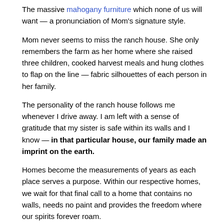The massive mahogany furniture which none of us will want — a pronunciation of Mom's signature style.
Mom never seems to miss the ranch house. She only remembers the farm as her home where she raised three children, cooked harvest meals and hung clothes to flap on the line — fabric silhouettes of each person in her family.
The personality of the ranch house follows me whenever I drive away. I am left with a sense of gratitude that my sister is safe within its walls and I know — in that particular house, our family made an imprint on the earth.
Homes become the measurements of years as each place serves a purpose. Within our respective homes, we wait for that final call to a home that contains no walls, needs no paint and provides the freedom where our spirits forever roam.
©2019 RJ Thesman – All Rights Reserved
Read more about the places and people of hope in Hope Shi...